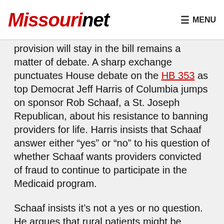Missourinet  MENU
provision will stay in the bill remains a matter of debate. A sharp exchange punctuates House debate on the HB 353 as top Democrat Jeff Harris of Columbia jumps on sponsor Rob Schaaf, a St. Joseph Republican, about his resistance to banning providers for life. Harris insists that Schaaf answer either “yes” or “no” to his question of whether Schaaf wants providers convicted of fraud to continue to participate in the Medicaid program.
Schaaf insists it’s not a yes or no question. He argues that rural patients might be without Medicaid services if the strict wording is added to the bill. Despite such opposition, the House has approved the amendment and the bill now contains the provision. That leads Harris down another inquiry with Schaaf. This time, Harris asks if Schaaf now supports the provision and whether he plans to keep it in